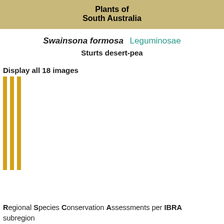Plants of South Australia
Swainsona formosa  Leguminosae
Sturts desert-pea
Display all 18 images
[Figure (other): Three vertical gold/yellow bars representing image placeholders]
Regional Species Conservation Assessments per IBRA subregion